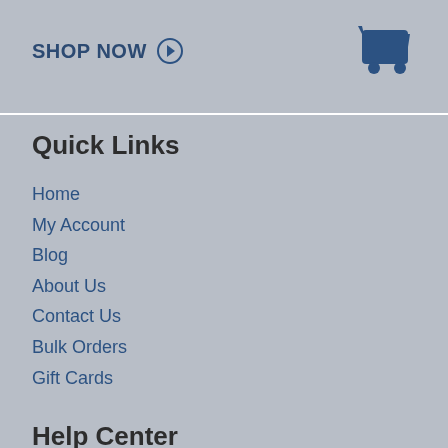SHOP NOW ➔
Quick Links
Home
My Account
Blog
About Us
Contact Us
Bulk Orders
Gift Cards
Help Center
FAQS
Shipping Policy
Return Policy
Privacy Policy